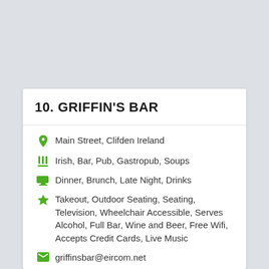10. GRIFFIN'S BAR
Main Street, Clifden Ireland
Irish, Bar, Pub, Gastropub, Soups
Dinner, Brunch, Late Night, Drinks
Takeout, Outdoor Seating, Seating, Television, Wheelchair Accessible, Serves Alcohol, Full Bar, Wine and Beer, Free Wifi, Accepts Credit Cards, Live Music
griffinsbar@eircom.net
+353 95 30716
http://www.griffinsbar.ie/
Food